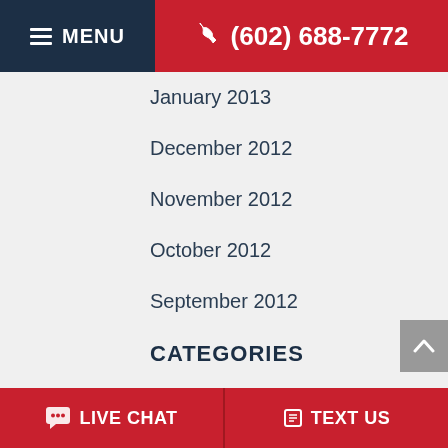MENU | (602) 688-7772
January 2013
December 2012
November 2012
October 2012
September 2012
CATEGORIES
Criminal Charges
Domestic Violence
DUI
Firm News
LIVE CHAT | TEXT US